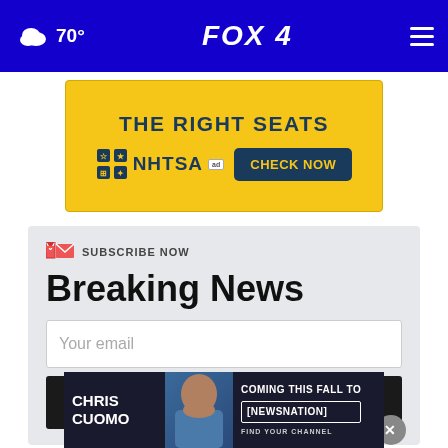70° FOX 4
[Figure (screenshot): NHTSA advertisement banner: THE RIGHT SEATS — NHTSA ad CHECK NOW button]
Breaking News
SUBSCRIBE NOW
Your email
SIGN UP NOW
[Figure (screenshot): Chris Cuomo advertisement: CHRIS CUOMO COMING THIS FALL TO [NEWSNATION] FIND YOUR CHANNEL]